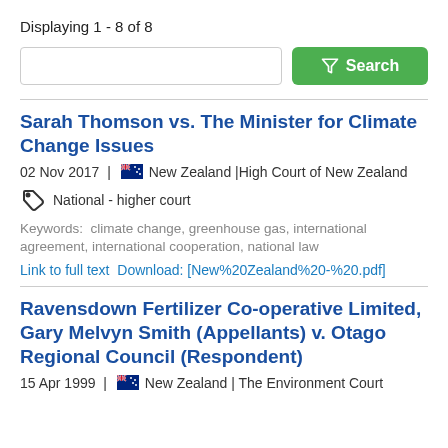Displaying 1 - 8 of 8
Search
Sarah Thomson vs. The Minister for Climate Change Issues
02 Nov 2017  |  New Zealand | High Court of New Zealand
National - higher court
Keywords:  climate change, greenhouse gas, international agreement, international cooperation, national law
Link to full text  Download: [New%20Zealand%20-%20.pdf]
Ravensdown Fertilizer Co-operative Limited, Gary Melvyn Smith (Appellants) v. Otago Regional Council (Respondent)
15 Apr 1999  |  New Zealand | The Environment Court